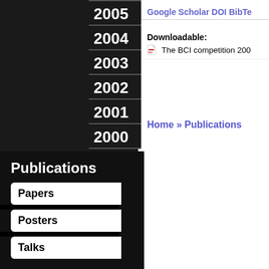2005
2004
2003
2002
2001
2000
Google Scholar   DOI   BibTe
Downloadable: The BCI competition 200
Home » Publications
Publications
Papers
Posters
Talks